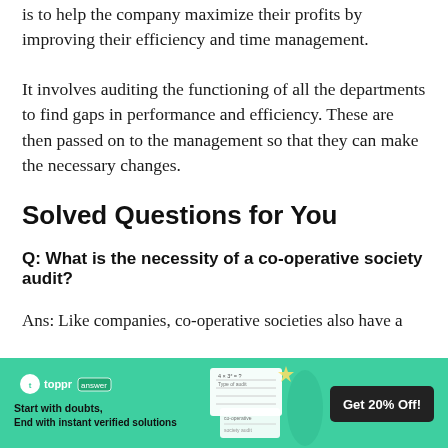is to help the company maximize their profits by improving their efficiency and time management.
It involves auditing the functioning of all the departments to find gaps in performance and efficiency. These are then passed on to the management so that they can make the necessary changes.
Solved Questions for You
Q: What is the necessity of a co-operative society audit?
Ans: Like companies, co-operative societies also have a
[Figure (infographic): Toppr answer app advertisement banner with green background. Shows Toppr logo with 'answer' badge, text 'Start with doubts, End with instant verified solutions', a notebook/card graphic in the middle, and a dark 'Get 20% Off!' button on the right. A student image is partially visible.]